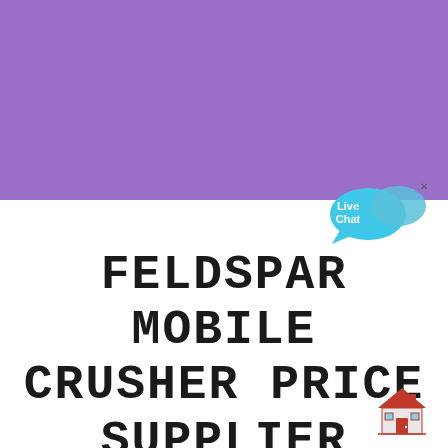[Figure (illustration): Purple rectangular background block occupying the top half of the page]
FELDSPAR MOBILE CRUSHER PRICE SUPPLIER
[Figure (illustration): Live Chat speech bubble widget in cyan/blue color with 'Live Chat' text and a small x close button, positioned top-right]
[Figure (illustration): Small red house/building emoji icon in bottom-right corner]